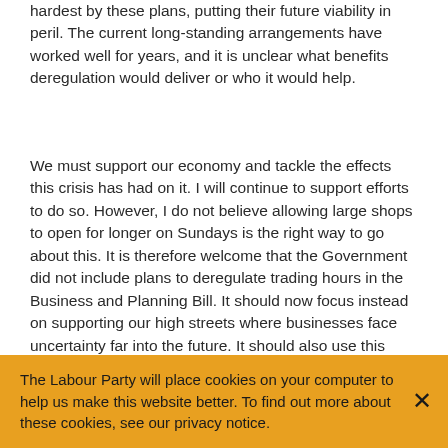hardest by these plans, putting their future viability in peril. The current long-standing arrangements have worked well for years, and it is unclear what benefits deregulation would deliver or who it would help.
We must support our economy and tackle the effects this crisis has had on it. I will continue to support efforts to do so. However, I do not believe allowing large shops to open for longer on Sundays is the right way to go about this. It is therefore welcome that the Government did not include plans to deregulate trading hours in the Business and Planning Bill. It should now focus instead on supporting our high streets where businesses face uncertainty far into the future. It should also use this opportunity to support retail workers further in return for the crucial efforts they
The Labour Party will place cookies on your computer to help us make this website better. To find out more about these cookies, see our privacy notice.